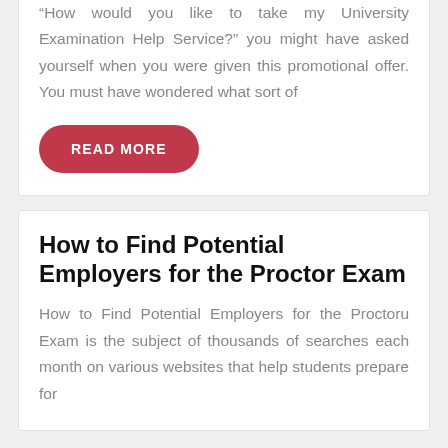“How would you like to take my University Examination Help Service?” you might have asked yourself when you were given this promotional offer. You must have wondered what sort of
READ MORE
How to Find Potential Employers for the Proctor Exam
How to Find Potential Employers for the Proctoru Exam is the subject of thousands of searches each month on various websites that help students prepare for